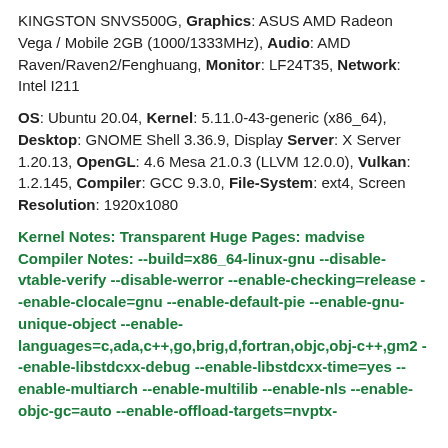KINGSTON SNVS500G, Graphics: ASUS AMD Radeon Vega / Mobile 2GB (1000/1333MHz), Audio: AMD Raven/Raven2/Fenghuang, Monitor: LF24T35, Network: Intel I211
OS: Ubuntu 20.04, Kernel: 5.11.0-43-generic (x86_64), Desktop: GNOME Shell 3.36.9, Display Server: X Server 1.20.13, OpenGL: 4.6 Mesa 21.0.3 (LLVM 12.0.0), Vulkan: 1.2.145, Compiler: GCC 9.3.0, File-System: ext4, Screen Resolution: 1920x1080
Kernel Notes: Transparent Huge Pages: madvise Compiler Notes: --build=x86_64-linux-gnu --disable-vtable-verify --disable-werror --enable-checking=release --enable-clocale=gnu --enable-default-pie --enable-gnu-unique-object --enable-languages=c,ada,c++,go,brig,d,fortran,objc,obj-c++,gm2 --enable-libstdcxx-debug --enable-libstdcxx-time=yes --enable-multiarch --enable-multilib --enable-nls --enable-objc-gc=auto --enable-offload-targets=nvptx-